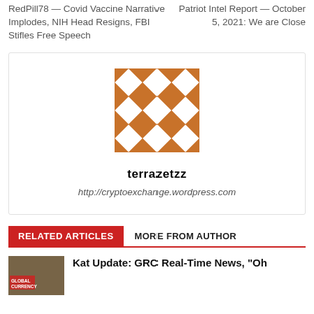RedPill78 — Covid Vaccine Narrative Implodes, NIH Head Resigns, FBI Stifles Free Speech
Patriot Intel Report — October 5, 2021: We are Close
[Figure (illustration): Orange geometric quilt-pattern avatar image for user terrazetzz]
terrazetzz
http://cryptoexchange.wordpress.com
RELATED ARTICLES
MORE FROM AUTHOR
[Figure (photo): Thumbnail image showing Global Currency text overlay on a photo]
Kat Update: GRC Real-Time News, "Oh